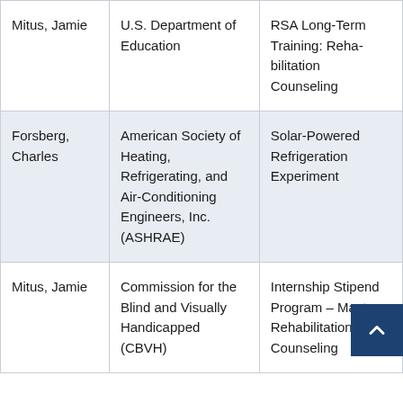| Name | Organization | Project/Program |
| --- | --- | --- |
| Mitus, Jamie | U.S. Department of Education | RSA Long-Term Training: Rehabilitation Counseling |
| Forsberg, Charles | American Society of Heating, Refrigerating, and Air-Conditioning Engineers, Inc. (ASHRAE) | Solar-Powered Refrigeration Experiment |
| Mitus, Jamie | Commission for the Blind and Visually Handicapped (CBVH) | Internship Stipend Program – Masters Rehabilitation Counseling |